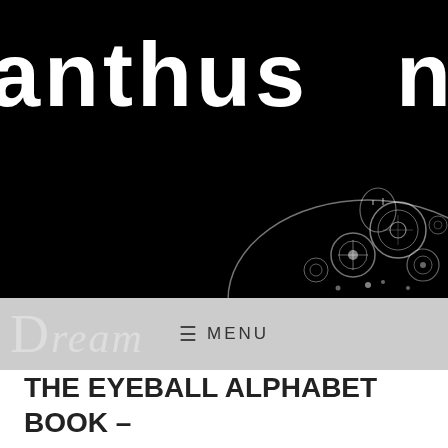anthus Nerd
[Figure (illustration): Steampunk mechanical gear and cog illustration in white line art on black background, partially visible at bottom right of header]
Dream   ≡  MENU
THE EYEBALL ALPHABET BOOK – JERRY PALLOTTA